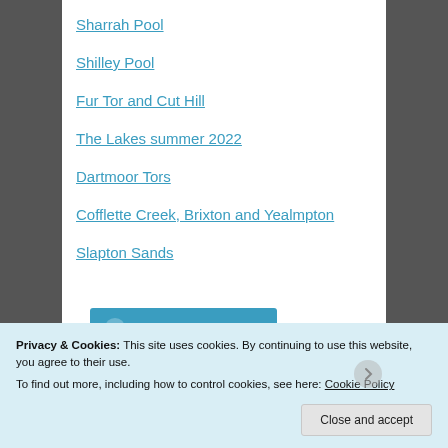Sharrah Pool
Shilley Pool
Fur Tor and Cut Hill
The Lakes summer 2022
Dartmoor Tors
Cofflette Creek, Brixton and Yealmpton
Slapton Sands
[Figure (other): Follow treksandtors WordPress button]
Privacy & Cookies: This site uses cookies. By continuing to use this website, you agree to their use.
To find out more, including how to control cookies, see here: Cookie Policy
Close and accept